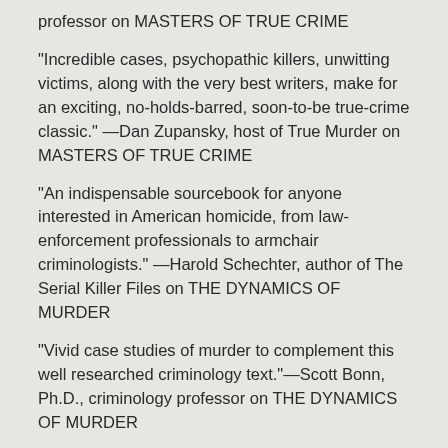professor on MASTERS OF TRUE CRIME
“Incredible cases, psychopathic killers, unwitting victims, along with the very best writers, make for an exciting, no-holds-barred, soon-to-be true-crime classic.” —Dan Zupansky, host of True Murder on MASTERS OF TRUE CRIME
“An indispensable sourcebook for anyone interested in American homicide, from law-enforcement professionals to armchair criminologists.” —Harold Schechter, author of The Serial Killer Files on THE DYNAMICS OF MURDER
“Vivid case studies of murder to complement this well researched criminology text.”—Scott Bonn, Ph.D., criminology professor on THE DYNAMICS OF MURDER
*****